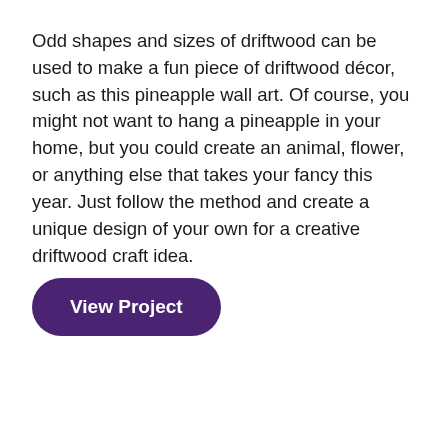Odd shapes and sizes of driftwood can be used to make a fun piece of driftwood décor, such as this pineapple wall art. Of course, you might not want to hang a pineapple in your home, but you could create an animal, flower, or anything else that takes your fancy this year. Just follow the method and create a unique design of your own for a creative driftwood craft idea.
View Project